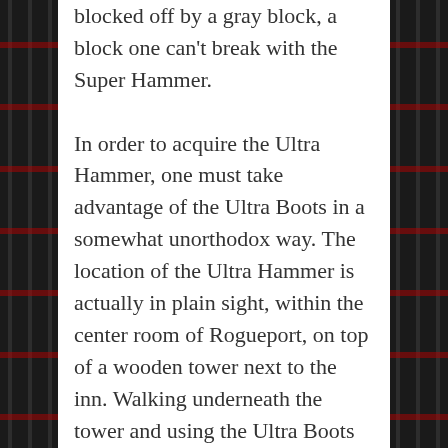blocked off by a gray block, a block one can't break with the Super Hammer.

In order to acquire the Ultra Hammer, one must take advantage of the Ultra Boots in a somewhat unorthodox way. The location of the Ultra Hammer is actually in plain sight, within the center room of Rogueport, on top of a wooden tower next to the inn. Walking underneath the tower and using the Ultra Boots to launch Mario into the chest's underside will bounce it off of the tower and onto the ground, where Mario can open it. Congratulations! You now have the Ultra